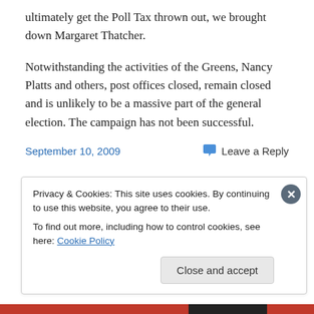ultimately get the Poll Tax thrown out, we brought down Margaret Thatcher.
Notwithstanding the activities of the Greens, Nancy Platts and others, post offices closed, remain closed and is unlikely to be a massive part of the general election. The campaign has not been successful.
September 10, 2009    Leave a Reply
Privacy & Cookies: This site uses cookies. By continuing to use this website, you agree to their use.
To find out more, including how to control cookies, see here: Cookie Policy